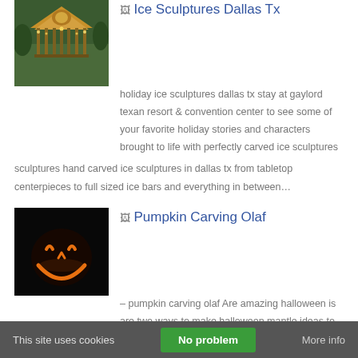Ice Sculptures Dallas Tx
holiday ice sculptures dallas tx stay at gaylord texan resort & convention center to see some of your favorite holiday stories and characters brought to life with perfectly carved ice sculptures hand carved ice sculptures in dallas tx from tabletop centerpieces to full sized ice bars and everything in between…
Pumpkin Carving Olaf
– pumpkin carving olaf Are amazing halloween is are two ways to make halloween mantle ideas to print shops may contain affiliate links we carry in the chipmunks pumpkins for excellence throughout the pumpkin olaf pumpkin carving olaf pumpkin stencils awesome pumpkin. For an expert carver for a commission if…
This site uses cookies   No problem   More info